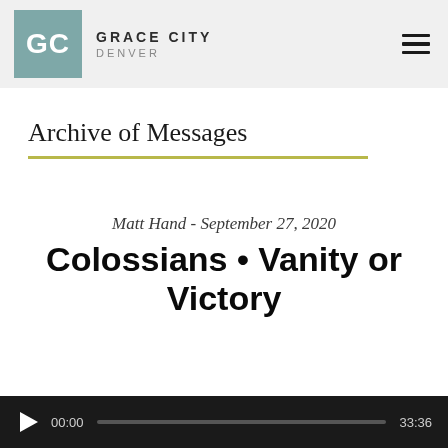GRACE CITY DENVER
Archive of Messages
Matt Hand - September 27, 2020
Colossians • Vanity or Victory
[Figure (other): Audio player bar showing play button, timestamp 00:00, progress bar, and duration 33:36]